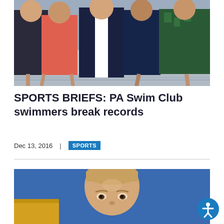[Figure (photo): Group photo of swimmers in swimsuits standing poolside]
SPORTS BRIEFS: PA Swim Club swimmers break records
Dec 13, 2016  |  SPORTS
[Figure (photo): Close-up portrait photo of a young female swimmer against a blue and yellow background]